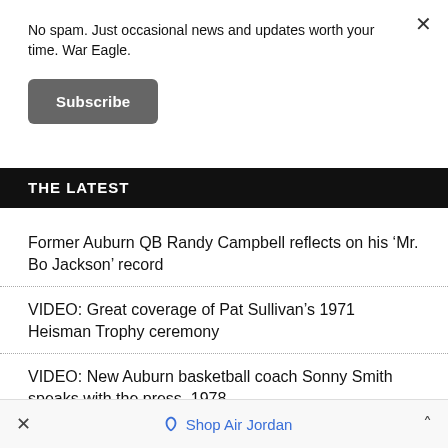No spam. Just occasional news and updates worth your time. War Eagle.
Subscribe
THE LATEST
Former Auburn QB Randy Campbell reflects on his ‘Mr. Bo Jackson’ record
VIDEO: Great coverage of Pat Sullivan’s 1971 Heisman Trophy ceremony
VIDEO: New Auburn basketball coach Sonny Smith speaks with the press, 1978
‘It’s Jordan, like the stadium’: For Georgia fan turned
×   Shop Air Jordan   ˄